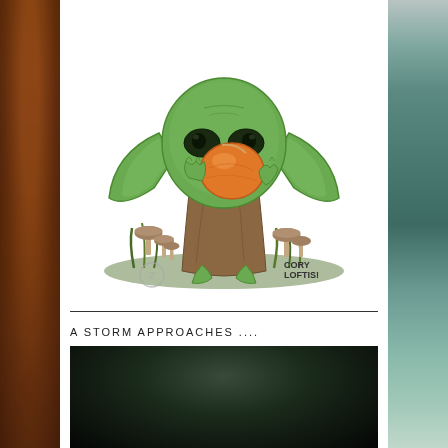[Figure (illustration): Illustration of Baby Yoda (Grogu) holding an orange egg/object, sitting among mushrooms and grass. Signed 'CORY LOFTIS!' with a small circular logo mark.]
A STORM APPROACHES ....
[Figure (photo): Dark stormy sky photograph, mostly dark/black tones suggesting an approaching storm.]